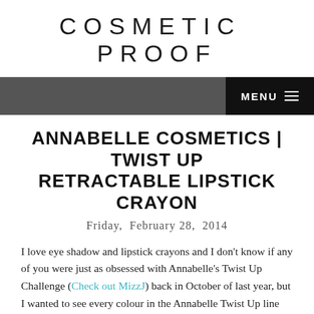COSMETIC PROOF
ANNABELLE COSMETICS | TWIST UP RETRACTABLE LIPSTICK CRAYON
Friday, February 28, 2014
I love eye shadow and lipstick crayons and I don't know if any of you were just as obsessed with Annabelle's Twist Up Challenge (Check out MizzJ) back in October of last year, but I wanted to see every colour in the Annabelle Twist Up line and today I have two beautiful colours to share with you!